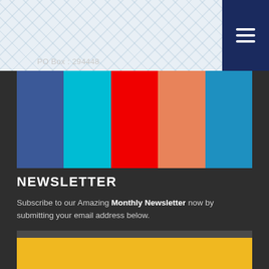[Figure (other): Top header with Islamic geometric tile pattern background in light blue-grey, with a dark navy hamburger menu button in the top-right corner]
PO Box : 294448
[Figure (infographic): Five colored rectangular boxes in a row: dark blue (Facebook), cyan/sky blue (Twitter), red, orange-salmon, and medium blue]
NEWSLETTER
Subscribe to our Amazing Monthly Newsletter now by submitting your email address below.
[Figure (other): Email input field placeholder with text: Enter your e-mail]
[Figure (other): Solid yellow/amber colored block at the bottom]